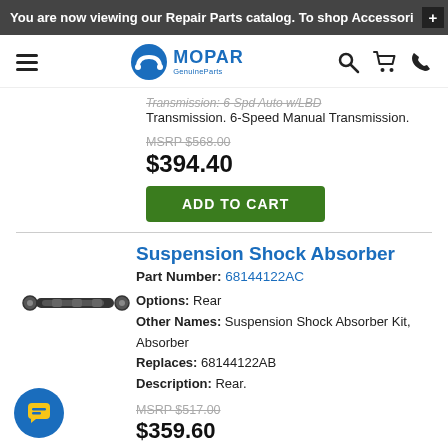You are now viewing our Repair Parts catalog. To shop Accessori +
[Figure (logo): Mopar GenuineParts logo with hamburger menu, search, cart, and phone icons in navigation bar]
Transmission: 6-Spd Auto w/LBD
Transmission. 6-Speed Manual Transmission.
MSRP $568.00
$394.40
ADD TO CART
Suspension Shock Absorber
Part Number: 68144122AC
[Figure (photo): Suspension shock absorber part photo showing a black cylindrical shock absorber]
Options: Rear
Other Names: Suspension Shock Absorber Kit, Absorber
Replaces: 68144122AB
Description: Rear.
MSRP $517.00
$359.60
ADD TO CART